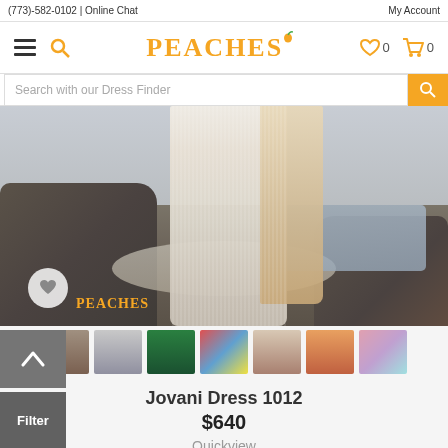(773)-582-0102 | Online Chat    My Account
[Figure (logo): PEACHES brand logo with orange text and leaf icon, navigation bar with hamburger menu, search icon, heart icon with count 0, cart icon with count 0]
Search with our Dress Finder
[Figure (photo): Main product photo of Jovani Dress 1012 - a long flowing white/cream lace or textured dress photographed on a rocky beach with ocean waves in background. PEACHES watermark in orange at bottom. Heart/wishlist circle button at bottom left.]
[Figure (photo): Thumbnail gallery row showing 7 color/style variations of the Jovani Dress 1012: brown/tan, light grey, green, multicolor, nude/champagne, orange, multicolor]
Jovani Dress 1012
$640
Quickview